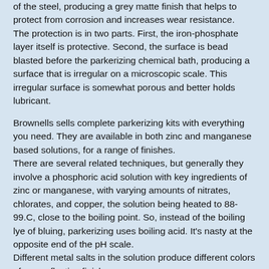of the steel, producing a grey matte finish that helps to protect from corrosion and increases wear resistance.
The protection is in two parts. First, the iron-phosphate layer itself is protective. Second, the surface is bead blasted before the parkerizing chemical bath, producing a surface that is irregular on a microscopic scale. This irregular surface is somewhat porous and better holds lubricant.
Brownells sells complete parkerizing kits with everything you need. They are available in both zinc and manganese based solutions, for a range of finishes.
There are several related techniques, but generally they involve a phosphoric acid solution with key ingredients of zinc or manganese, with varying amounts of nitrates, chlorates, and copper, the solution being heated to 88-99.C, close to the boiling point. So, instead of the boiling lye of bluing, parkerizing uses boiling acid. It's nasty at the opposite end of the pH scale.
Different metal salts in the solution produce different colors of non-reflective finish:
Zinc - Light to medium grey
Manganese - Light to dark grey, or black
Iron - Dark grey to black
Phosphating can interact with a coating of cosmoline over a period of years to produce a light greenish-grey color. I know that this sounds like